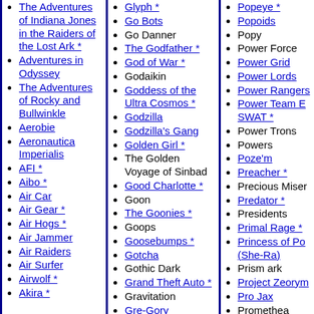The Adventures of Indiana Jones in the Raiders of the Lost Ark *
Adventures in Odyssey
The Adventures of Rocky and Bullwinkle
Aerobie
Aeronautica Imperialis
AFI *
Aibo *
Air Car
Air Gear *
Air Hogs *
Air Jammer
Air Raiders
Air Surfer
Airwolf *
Akira *
Glyph *
Go Bots
Go Danner
The Godfather *
God of War *
Godaikin
Goddess of the Ultra Cosmos *
Godzilla
Godzilla's Gang
Golden Girl *
The Golden Voyage of Sinbad
Good Charlotte *
Goon
The Goonies *
Goops
Goosebumps *
Gotcha
Gothic Dark
Grand Theft Auto *
Gravitation
Gre-Gory
Popeye *
Popoids
Popy
Power Force
Power Grid
Power Lords
Power Rangers
Power Team Elite SWAT *
Power Trons
Powers
Poze'm
Preacher *
Precious Miser
Predator *
Presidents
Primal Rage *
Princess of Power (She-Ra)
Prism ark
Project Zeorym
Pro Jax
Promethea
Prophet *
Public Enemy
Puchi Pettite